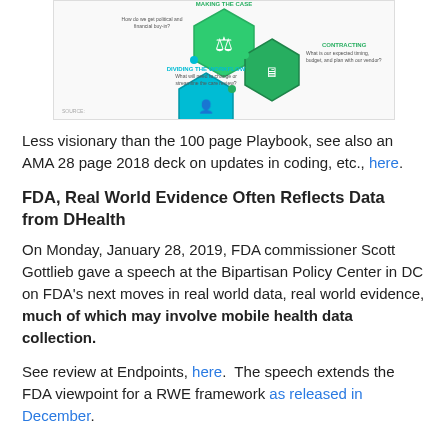[Figure (infographic): Partial view of a hexagonal infographic showing sections labeled 'Making the Case', 'Contracting', 'Dividing the Workflow' with green and blue hexagon icons]
Less visionary than the 100 page Playbook, see also an AMA 28 page 2018 deck on updates in coding, etc., here.
FDA, Real World Evidence Often Reflects Data from DHealth
On Monday, January 28, 2019, FDA commissioner Scott Gottlieb gave a speech at the Bipartisan Policy Center in DC on FDA's next moves in real world data, real world evidence, much of which may involve mobile health data collection.
See review at Endpoints, here. The speech extends the FDA viewpoint for a RWE framework as released in December.